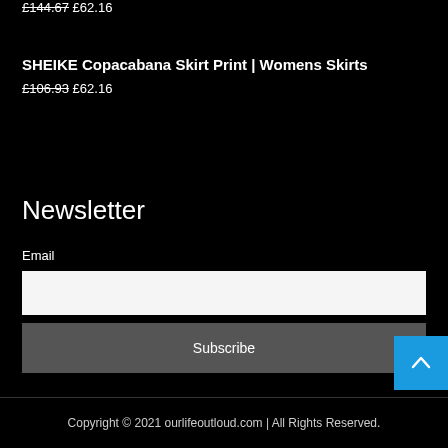£144.67 £62.16
SHEIKE Copacabana Skirt Print | Womens Skirts
£106.93 £62.16
Newsletter
Email
Subscribe
Copyright © 2021 ourlifeoutloud.com | All Rights Reserved.